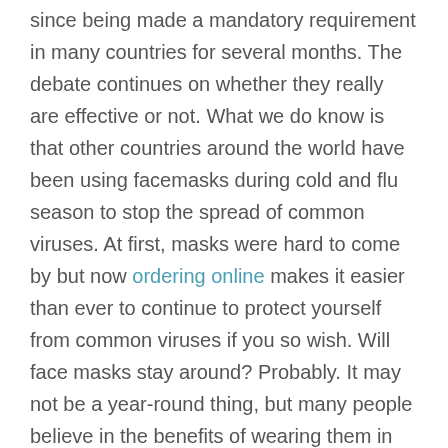since being made a mandatory requirement in many countries for several months. The debate continues on whether they really are effective or not. What we do know is that other countries around the world have been using facemasks during cold and flu season to stop the spread of common viruses. At first, masks were hard to come by but now ordering online makes it easier than ever to continue to protect yourself from common viruses if you so wish. Will face masks stay around? Probably. It may not be a year-round thing, but many people believe in the benefits of wearing them in the winter months and have been talking about doing so.
Nobody washes their hands as much as they should, or how they should
Washing your hands has become second nature to most